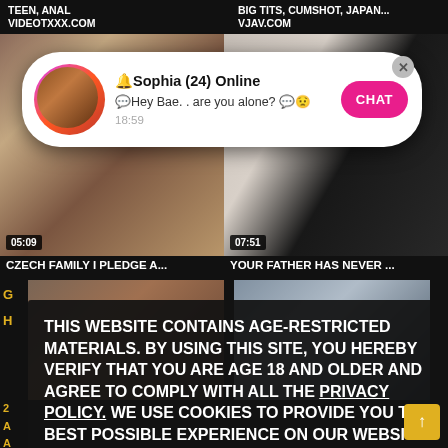TEEN, ANAL VIDEOTXXX.COM
BIG TITS, CUMSHOT, JAPAN... VJAV.COM
[Figure (screenshot): Video thumbnail left - CZECH FAMILY I PLEDGE A... 05:09]
[Figure (screenshot): Video thumbnail right - YOUR FATHER HAS NEVER ... 07:51]
[Figure (screenshot): Chat notification popup: Sophia (24) Online - Hey Bae.. are you alone? - CHAT button]
THIS WEBSITE CONTAINS AGE-RESTRICTED MATERIALS. BY USING THIS SITE, YOU HEREBY VERIFY THAT YOU ARE AGE 18 AND OLDER AND AGREE TO COMPLY WITH ALL THE PRIVACY POLICY. WE USE COOKIES TO PROVIDE YOU THE BEST POSSIBLE EXPERIENCE ON OUR WEBSITE AND TO MONITOR WEBSITE TRAFFIC. COOKIES POLICY.